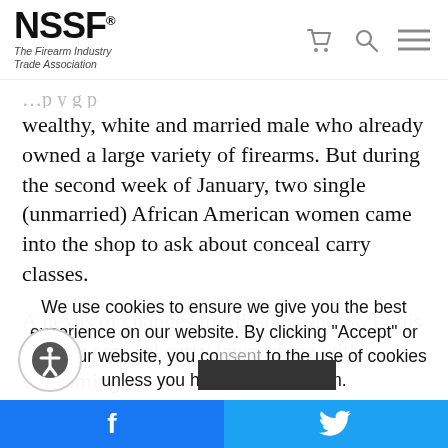[Figure (logo): NSSF logo with text 'The Firearm Industry Trade Association']
wealthy, white and married male who already owned a large variety of firearms. But during the second week of January, two single (unmarried) African American women came into the shop to ask about conceal carry classes.
A nexus of changes in Missouri and St. Louis County conceal carry laws, along with welcoming new
We use cookies to ensure we give you the best experience on our website. By clicking "Accept" or using our website, you consent to the use of cookies unless you have disabled them.